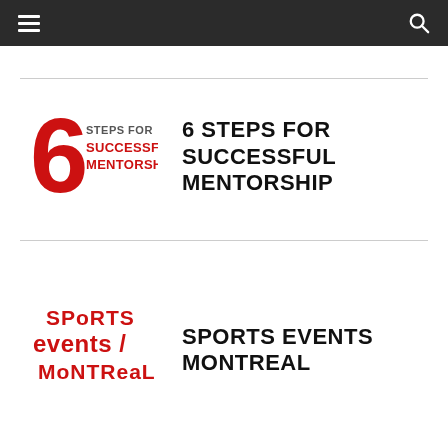Navigation bar with hamburger menu and search icon
[Figure (logo): 6 Steps for Successful Mentorship logo with large red '6' and text 'STEPS FOR SUCCESSFUL MENTORSHIP']
6 STEPS FOR SUCCESSFUL MENTORSHIP
[Figure (logo): Sports Events Montreal logo in red text]
SPORTS EVENTS MONTREAL